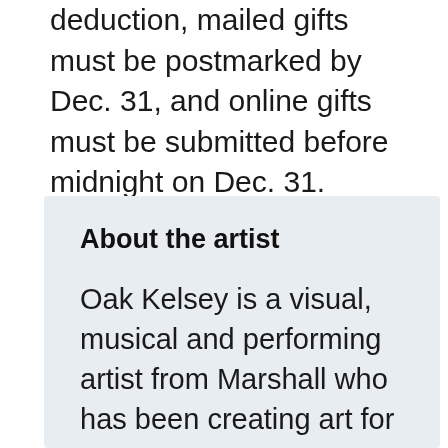deduction, mailed gifts must be postmarked by Dec. 31, and online gifts must be submitted before midnight on Dec. 31.
About the artist
Oak Kelsey is a visual, musical and performing artist from Marshall who has been creating art for over 40 years. He created chalk art for Marshall's Welcoming Week event this fall. Nine communities worked with Southwest Initiative Foundation and hosted events to build belonging and highlight the values that unite us as neighbors, families and colleagues as